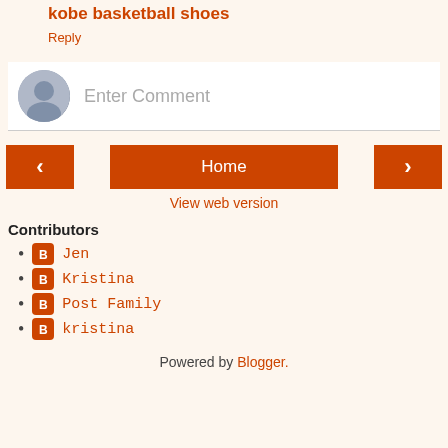kobe basketball shoes
Reply
[Figure (other): Comment input area with avatar and placeholder text 'Enter Comment']
[Figure (other): Navigation buttons: left arrow, Home, right arrow]
View web version
Contributors
Jen
Kristina
Post Family
kristina
Powered by Blogger.